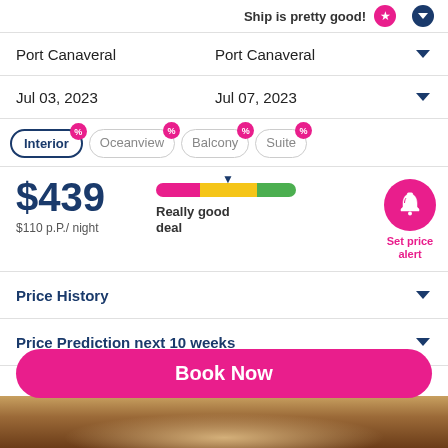Ship is pretty good!
Port Canaveral	Port Canaveral
Jul 03, 2023	Jul 07, 2023
Interior
Oceanview
Balcony
Suite
$439
$110 p.P./ night
Really good deal
Set price alert
Price History
Price Prediction next 10 weeks
Book Now